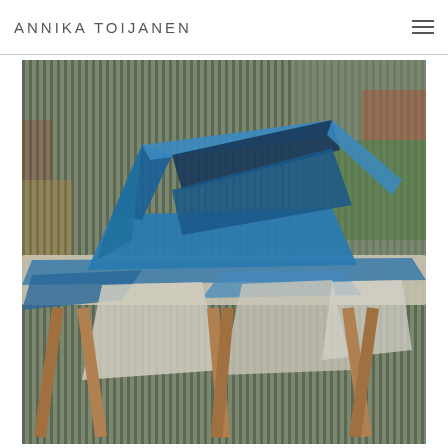ANNIKA TOIJANEN
[Figure (photo): Photograph of a blue metal sculpture with angular geometric forms placed on a wooden sawhorse table outdoors, against a background of a corrugated metal wall or fence with colorful graffiti. The sculpture appears to be made of painted blue sheet metal bent into angular shapes. The table surface is covered with blue tarpaulin and white cloth scraps.]